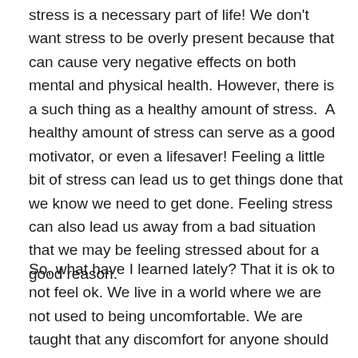stress is a necessary part of life! We don't want stress to be overly present because that can cause very negative effects on both mental and physical health. However, there is a such thing as a healthy amount of stress.  A healthy amount of stress can serve as a good motivator, or even a lifesaver! Feeling a little bit of stress can lead us to get things done that we know we need to get done. Feeling stress can also lead us away from a bad situation that we may be feeling stressed about for a good reason.
So, what have I learned lately? That it is ok to not feel ok. We live in a world where we are not used to being uncomfortable. We are taught that any discomfort for anyone should be avoided and is not